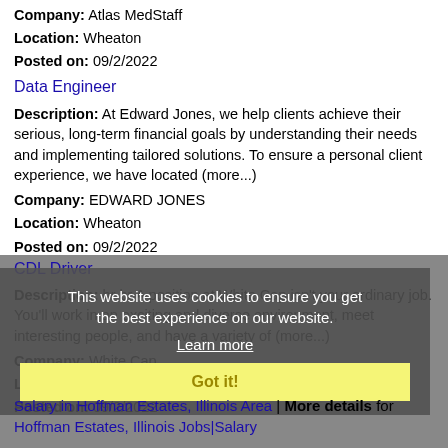Company: Atlas MedStaff
Location: Wheaton
Posted on: 09/2/2022
Data Engineer
Description: At Edward Jones, we help clients achieve their serious, long-term financial goals by understanding their needs and implementing tailored solutions. To ensure a personal client experience, we have located (more...)
Company: EDWARD JONES
Location: Wheaton
Posted on: 09/2/2022
CDL Driver
Description: br br A position at White Cap isn't your ordinary job. You'll work in an exciting and diverse environment, meet interesting people, and have a variety of (more...)
Company: White Cap
Location: Wheaton
Posted on: 09/2/2022
This website uses cookies to ensure you get the best experience on our website.
Learn more
Got it!
Salary in Hoffman Estates, Illinois Area | More details for Hoffman Estates, Illinois Jobs|Salary